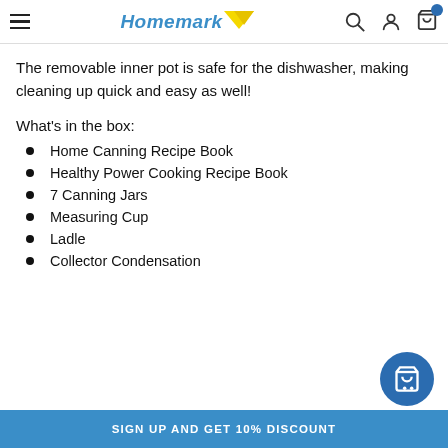Homemark [logo with search, user, cart icons]
The removable inner pot is safe for the dishwasher, making cleaning up quick and easy as well!
What's in the box:
Home Canning Recipe Book
Healthy Power Cooking Recipe Book
7 Canning Jars
Measuring Cup
Ladle
Collector Condensation
SIGN UP AND GET 10% DISCOUNT